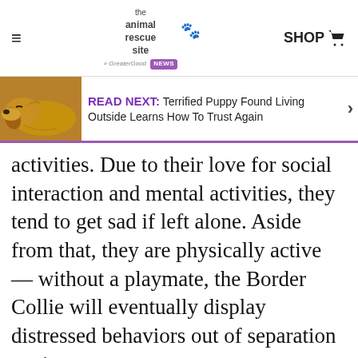the animal rescue site news | SHOP
[Figure (screenshot): READ NEXT banner with a photo of a golden/red puppy sleeping, with text: READ NEXT: Terrified Puppy Found Living Outside Learns How To Trust Again]
activities. Due to their love for social interaction and mental activities, they tend to get sad if left alone. Aside from that, they are physically active — without a playmate, the Border Collie will eventually display distressed behaviors out of separation anxiety.
ADVERTISEMENT
Se...